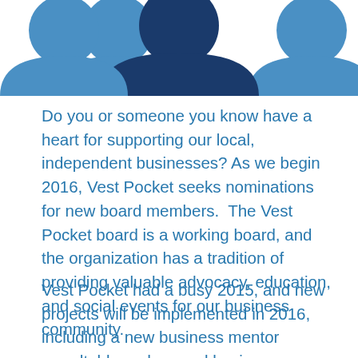[Figure (illustration): Three stylized person/avatar icons in blue tones — two lighter blue semicircles on the left and right with a darker navy blue figure in the center, cropped at the top of the page.]
Do you or someone you know have a heart for supporting our local, independent businesses? As we begin 2016, Vest Pocket seeks nominations for new board members. The Vest Pocket board is a working board, and the organization has a tradition of providing valuable advocacy, education, and social events for our business community.
Vest Pocket had a busy 2015, and new projects will be implemented in 2016, including a new business mentor roundtable and several business education events, as well as on-going